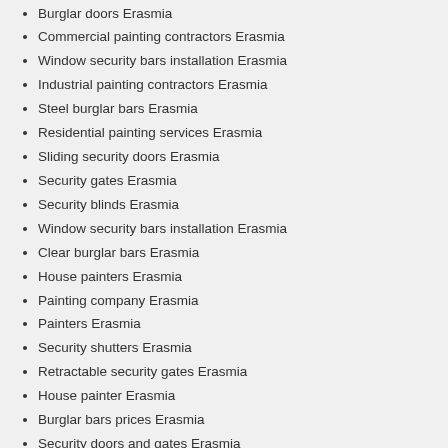Burglar doors Erasmia
Commercial painting contractors Erasmia
Window security bars installation Erasmia
Industrial painting contractors Erasmia
Steel burglar bars Erasmia
Residential painting services Erasmia
Sliding security doors Erasmia
Security gates Erasmia
Security blinds Erasmia
Window security bars installation Erasmia
Clear burglar bars Erasmia
House painters Erasmia
Painting company Erasmia
Painters Erasmia
Security shutters Erasmia
Retractable security gates Erasmia
House painter Erasmia
Burglar bars prices Erasmia
Security doors and gates Erasmia
Burglar bars for aluminium windows Erasmia
Invisible burglar bars Erasmia
Residential painting contractors Erasmia
Transparent burglar bars Erasmia
Security doors Erasmia
Painters in Erasmia
Burglar bars Erasmia
Roof painters Erasmia (partial)